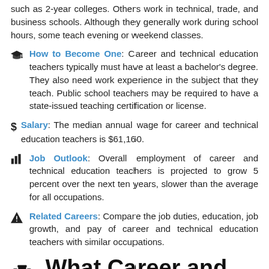such as 2-year colleges. Others work in technical, trade, and business schools. Although they generally work during school hours, some teach evening or weekend classes.
How to Become One: Career and technical education teachers typically must have at least a bachelor’s degree. They also need work experience in the subject that they teach. Public school teachers may be required to have a state-issued teaching certification or license.
Salary: The median annual wage for career and technical education teachers is $61,160.
Job Outlook: Overall employment of career and technical education teachers is projected to grow 5 percent over the next ten years, slower than the average for all occupations.
Related Careers: Compare the job duties, education, job growth, and pay of career and technical education teachers with similar occupations.
What Career and Technical Education Teachers Do